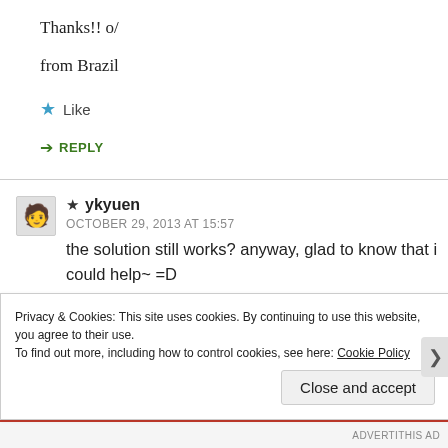Thanks!! o/
from Brazil
★ Like
↪ REPLY
★ ykyuen
OCTOBER 29, 2013 AT 15:57
the solution still works? anyway, glad to know that i could help~ =D
Privacy & Cookies: This site uses cookies. By continuing to use this website, you agree to their use. To find out more, including how to control cookies, see here: Cookie Policy
Close and accept